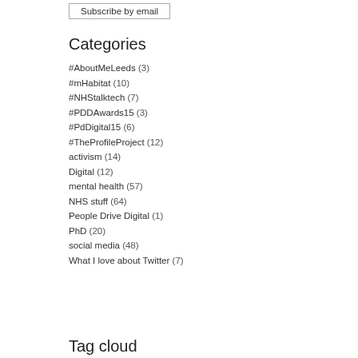Subscribe by email
Categories
#AboutMeLeeds (3)
#mHabitat (10)
#NHStalktech (7)
#PDDAwards15 (3)
#PdDigital15 (6)
#TheProfileProject (12)
activism (14)
Digital (12)
mental health (57)
NHS stuff (64)
People Drive Digital (1)
PhD (20)
social media (48)
What I love about Twitter (7)
Tag cloud